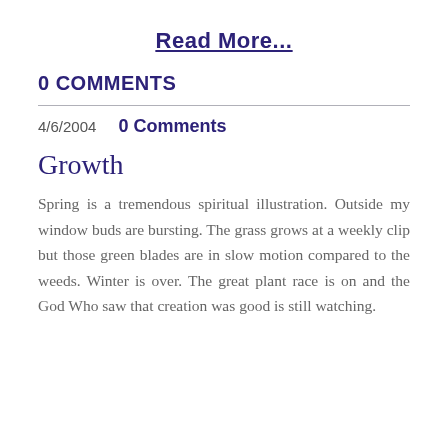Read More...
0 COMMENTS
4/6/2004   0 Comments
Growth
Spring is a tremendous spiritual illustration. Outside my window buds are bursting. The grass grows at a weekly clip but those green blades are in slow motion compared to the weeds. Winter is over. The great plant race is on and the God Who saw that creation was good is still watching.